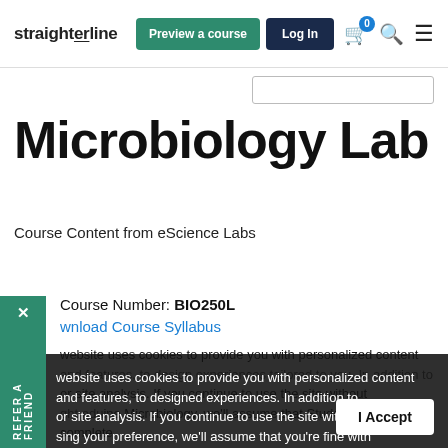straighterline | Preview a course | Log In
Microbiology Lab
Course Content from eScience Labs
Course Number: BIO250L
Download Course Syllabus
This website uses cookies to provide you with personalized content and features, to design experiences tailored to you. In addition to other purposes, Microbiology Students will complete college laboratory experiments, track and record results, answer lab-based questions reflected in graded lab reports, and complete lab-based assessments to meet the lab
I Accept